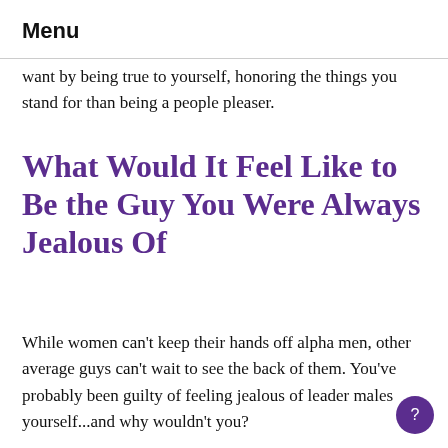Menu
want by being true to yourself, honoring the things you stand for than being a people pleaser.
What Would It Feel Like to Be the Guy You Were Always Jealous Of
While women can't keep their hands off alpha men, other average guys can't wait to see the back of them. You've probably been guilty of feeling jealous of leader males yourself...and why wouldn't you?